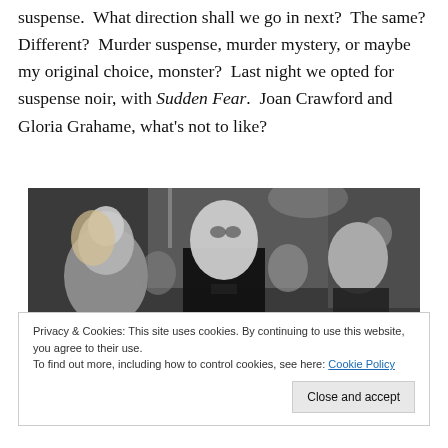suspense. What direction shall we go in next? The same? Different? Murder suspense, murder mystery, or maybe my original choice, monster? Last night we opted for suspense noir, with Sudden Fear. Joan Crawford and Gloria Grahame, what's not to like?
[Figure (photo): Black and white film still showing several people at what appears to be a party or social gathering. A man in a tuxedo with bow tie is prominently in the center, with other figures including women around him.]
Privacy & Cookies: This site uses cookies. By continuing to use this website, you agree to their use. To find out more, including how to control cookies, see here: Cookie Policy